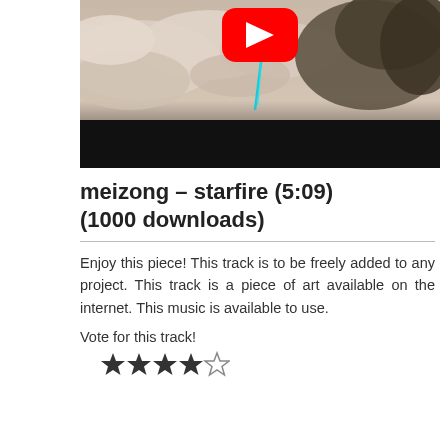[Figure (screenshot): YouTube video thumbnail showing clouds/nature scene with YouTube play button overlay and black bar at bottom]
meizong – starfire (5:09) (1000 downloads)
Enjoy this piece! This track is to be freely added to any project. This track is a piece of art available on the internet. This music is available to use.
Vote for this track!
[Figure (other): Star rating widget showing 4 out of 5 stars filled]